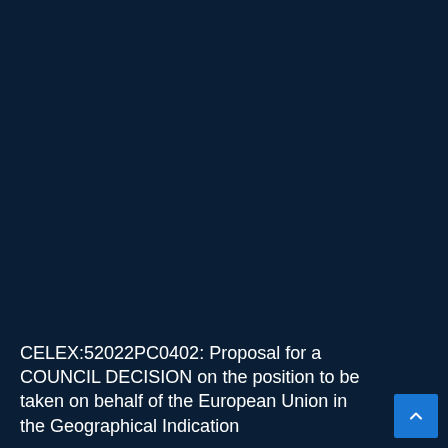CELEX:52022PC0402: Proposal for a COUNCIL DECISION on the position to be taken on behalf of the European Union in the Geographical Indication